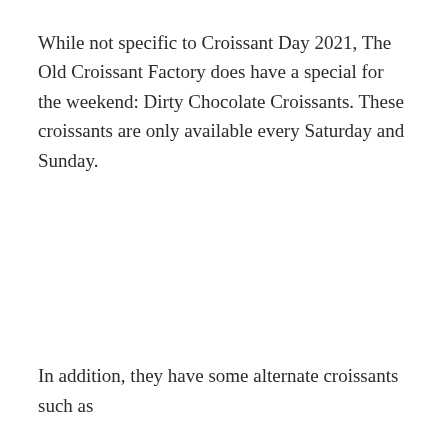While not specific to Croissant Day 2021, The Old Croissant Factory does have a special for the weekend: Dirty Chocolate Croissants. These croissants are only available every Saturday and Sunday.
In addition, they have some alternate croissants such as